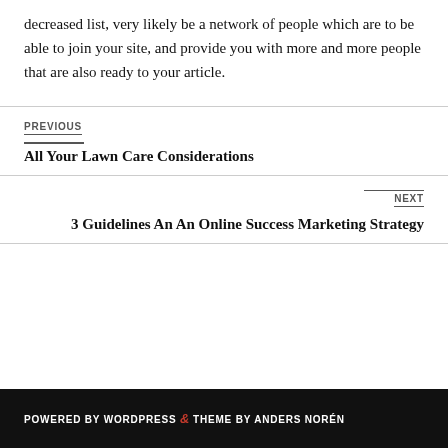decreased list, very likely be a network of people which are to be able to join your site, and provide you with more and more people that are also ready to your article.
PREVIOUS
All Your Lawn Care Considerations
NEXT
3 Guidelines An An Online Success Marketing Strategy
POWERED BY WORDPRESS & THEME BY ANDERS NORÉN